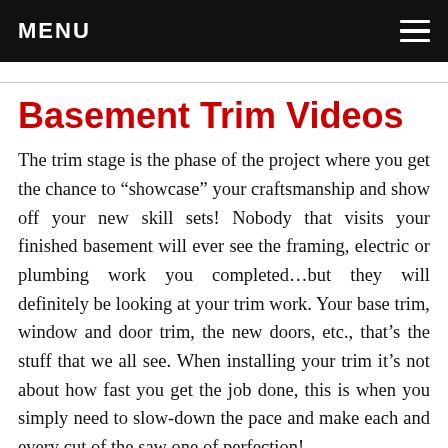MENU
Basement Trim Videos
The trim stage is the phase of the project where you get the chance to “showcase” your craftsmanship and show off your new skill sets! Nobody that visits your finished basement will ever see the framing, electric or plumbing work you completed…but they will definitely be looking at your trim work. Your base trim, window and door trim, the new doors, etc., that’s the stuff that we all see. When installing your trim it’s not about how fast you get the job done, this is when you simply need to slow-down the pace and make each and every cut of the saw one of perfection!